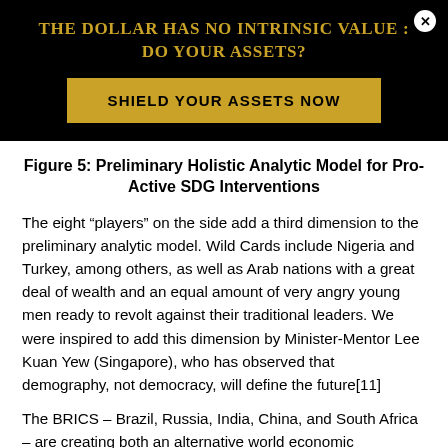THE DOLLAR HAS NO INTRINSIC VALUE : DO YOUR ASSETS?
SHIELD YOUR ASSETS NOW
Figure 5: Preliminary Holistic Analytic Model for Pro-Active SDG Interventions
The eight “players” on the side add a third dimension to the preliminary analytic model. Wild Cards include Nigeria and Turkey, among others, as well as Arab nations with a great deal of wealth and an equal amount of very angry young men ready to revolt against their traditional leaders. We were inspired to add this dimension by Minister-Mentor Lee Kuan Yew (Singapore), who has observed that demography, not democracy, will define the future[11]
The BRICS – Brazil, Russia, India, China, and South Africa – are creating both an alternative world economic infrastructure